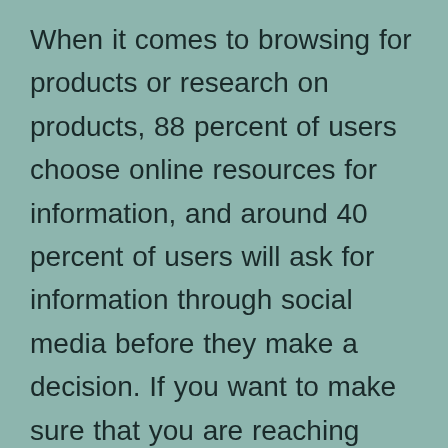When it comes to browsing for products or research on products, 88 percent of users choose online resources for information, and around 40 percent of users will ask for information through social media before they make a decision. If you want to make sure that you are reaching some of the most profitable parts of your audience, then SEO reporting can reveal the strengths that your current internet marketing efforts have, and weaknesses which will need to be addressed if you want to move forward and increase profitability. Using SEO reporting software and